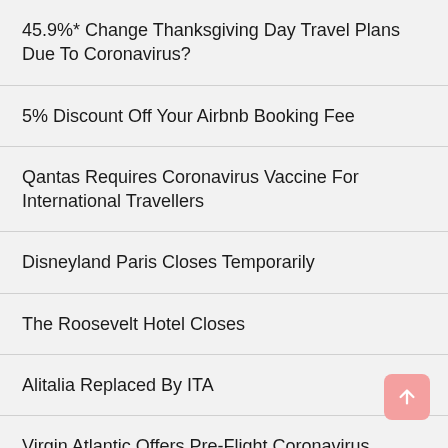45.9%* Change Thanksgiving Day Travel Plans Due To Coronavirus?
5% Discount Off Your Airbnb Booking Fee
Qantas Requires Coronavirus Vaccine For International Travellers
Disneyland Paris Closes Temporarily
The Roosevelt Hotel Closes
Alitalia Replaced By ITA
Virgin Atlantic Offers Pre-Flight Coronavirus Testing For Crew